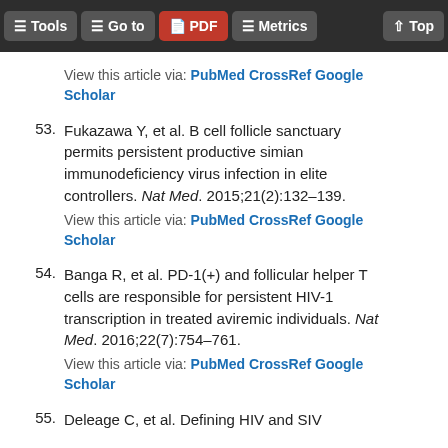Tools | Go to | PDF | Metrics | Top
View this article via: PubMed CrossRef Google Scholar
53. Fukazawa Y, et al. B cell follicle sanctuary permits persistent productive simian immunodeficiency virus infection in elite controllers. Nat Med. 2015;21(2):132–139. View this article via: PubMed CrossRef Google Scholar
54. Banga R, et al. PD-1(+) and follicular helper T cells are responsible for persistent HIV-1 transcription in treated aviremic individuals. Nat Med. 2016;22(7):754–761. View this article via: PubMed CrossRef Google Scholar
55. Deleage C, et al. Defining HIV and SIV Reservoirs in Lymphoid Tissues...